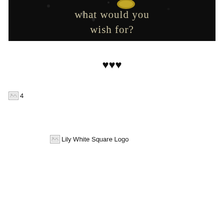[Figure (photo): Book cover image with dark background showing text 'what would you wish for?' in decorative serif font with drops and a coin visible]
♥♥♥
[Figure (other): Broken image placeholder labeled '4']
[Figure (logo): Broken image placeholder labeled 'Lily White Square Logo']